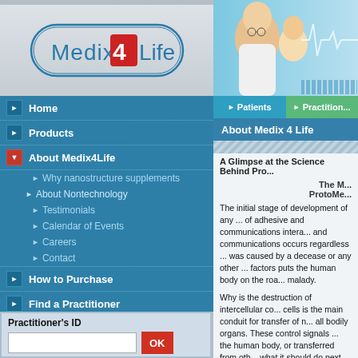[Figure (logo): Medix 4 Life logo with rounded rectangle outline and red 4]
[Figure (photo): Doctor with glasses and a young girl patient, medical heartbeat line graphic]
Home
Products
About Medix4Life
Why nanostructure supplements
About Nontechnology
Testimonials
Calendar of Events
Careers
Contact
How to Purchase
Find a Practitioner
Registration
Product FAQs
Resource center
Practitioner's ID
About Medix 4 Life
A Glimpse at the Science Behind Pro...
The M... ProtoMe...
The initial stage of development of any ... of adhesive and communications intera... and communications occurs regardless ... was caused by a decease or any other ... factors puts the human body on the roa... malady.
Why is the destruction of intercellular co... cells is the main conduit for transfer of n... all bodily organs. These control signals ... the human body, or transferred from oth... what it should do next. All biological pro... metabolism and even cellular death, are ... signals. This phenomenon has received...
It has been established, that there are m... through tissues. The decrease in inter...